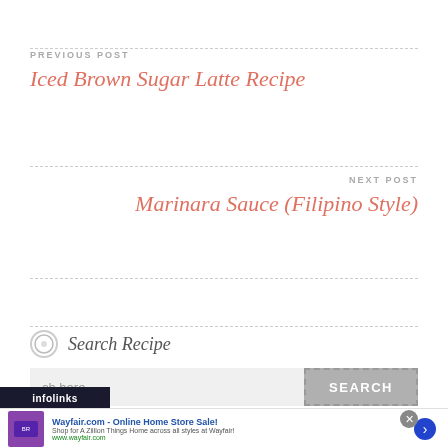PREVIOUS POST
Iced Brown Sugar Latte Recipe
NEXT POST
Marinara Sauce (Filipino Style)
Search Recipe
Search here...
SEARCH
[Figure (screenshot): Advertisement banner: Wayfair.com - Online Home Store Sale! with infolinks label and close button]